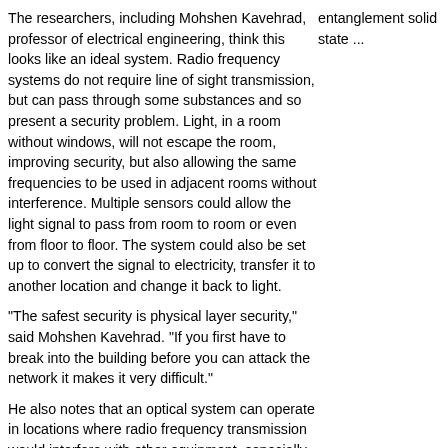The researchers, including Mohshen Kavehrad, professor of electrical engineering, think this looks like an ideal system. Radio frequency systems do not require line of sight transmission, but can pass through some substances and so present a security problem. Light, in a room without windows, will not escape the room, improving security, but also allowing the same frequencies to be used in adjacent rooms without interference. Multiple sensors could allow the light signal to pass from room to room or even from floor to floor. The system could also be set up to convert the signal to electricity, transfer it to another location and change it back to light.
"The safest security is physical layer security," said Mohshen Kavehrad. "If you first have to break into the building before you can attack the network it makes it very difficult."
He also notes that an optical system can operate in locations where radio frequency transmission would interfere with other equipment, especially in hospitals, aircraft and even some factories. Because this system is optical, it will not interfere with the radio frequency emissions of navigation equipment, medical devices or factory control systems.
Optical transmissions can transfer sensor data and unlike radio frequency communications, can also distribute high-resolution images.
"One application for this system would be wireless projection of high definition television," said Kavehrad. "Currently, two high definition broadcasts exceed the bandwidth of any radio
entanglement solid state ...